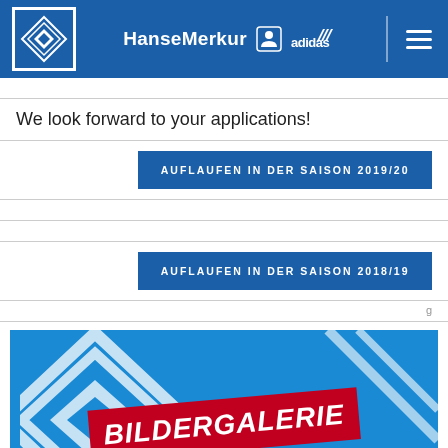[Figure (screenshot): HSV hamburger SV navigation bar with logo, HanseMerkur sponsor, Adidas logo, and hamburger menu icon on blue background]
We look forward to your applications!
AUFLAUFEN IN DER SAISON 2019/20
AUFLAUFEN IN DER SAISON 2018/19
[Figure (screenshot): Bildergalerie promotional image with HSV logo on blue background and red banner reading BILDERGALERIE]
AUFLAUFEN IN DER SAISON 2017/18